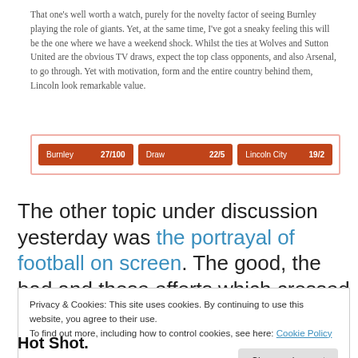That one’s well worth a watch, purely for the novelty factor of seeing Burnley playing the role of giants. Yet, at the same time, I’ve got a sneaky feeling this will be the one where we have a weekend shock. Whilst the ties at Wolves and Sutton United are the obvious TV draws, expect the top class opponents, and also Arsenal, to go through. Yet with motivation, form and the entire country behind them, Lincoln look remarkable value.
| Team | Odds | Team | Odds | Team | Odds |
| --- | --- | --- | --- | --- | --- |
| Burnley | 27/100 | Draw | 22/5 | Lincoln City | 19/2 |
The other topic under discussion yesterday was the portrayal of football on screen. The good, the bad and those efforts which crossed over into both camps. Yet one
Privacy & Cookies: This site uses cookies. By continuing to use this website, you agree to their use.
To find out more, including how to control cookies, see here: Cookie Policy
Hot Shot.